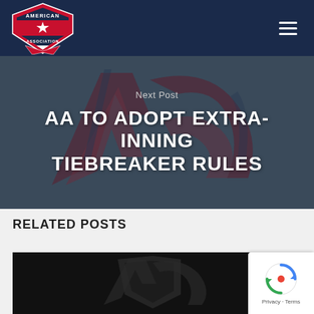[Figure (logo): American Association baseball league logo – red, white and navy shield with star]
[Figure (other): Hamburger menu icon (three horizontal white lines on navy background)]
Next Post
AA TO ADOPT EXTRA-INNING TIEBREAKER RULES
RELATED POSTS
[Figure (photo): Dark background image showing the American Association logo watermark, partial view – related post thumbnail]
[Figure (other): Google reCAPTCHA badge with spinning arrows icon and Privacy/Terms links]